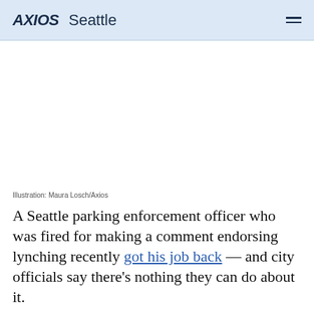AXIOS Seattle
[Figure (illustration): White/blank illustration area placeholder]
Illustration: Maura Losch/Axios
A Seattle parking enforcement officer who was fired for making a comment endorsing lynching recently got his job back — and city officials say there's nothing they can do about it.